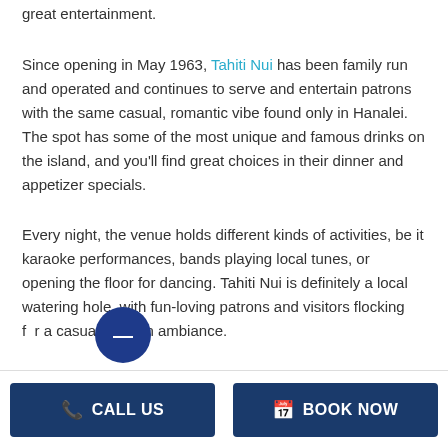great entertainment.
Since opening in May 1963, Tahiti Nui has been family run and operated and continues to serve and entertain patrons with the same casual, romantic vibe found only in Hanalei. The spot has some of the most unique and famous drinks on the island, and you'll find great choices in their dinner and appetizer specials.
Every night, the venue holds different kinds of activities, be it karaoke performances, bands playing local tunes, or opening the floor for dancing. Tahiti Nui is definitely a local watering hole, with fun-loving patrons and visitors flocking for a casual and fun ambiance.
CALL US | BOOK NOW